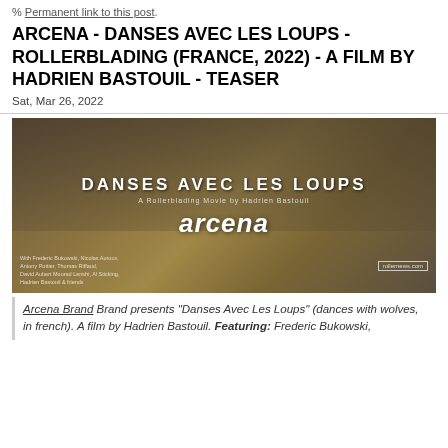Permanent link to this post.
ARCENA - DANSES AVEC LES LOUPS - ROLLERBLADING (FRANCE, 2022) - A FILM BY HADRIEN BASTOUIL - TEASER
Sat, Mar 26, 2022
[Figure (photo): Film teaser image showing three men with text overlay: DANSES AVEC LES LOUPS, A Rollerblading Movie by Hadrien Bastouil, arcena logo, rollernews.com, with credits listing Frederic Bukowski, Nicolas Auroux, Antony Pottier, Thomas Riffaud, David Aubert Mourad Lenshi, Al Sticking, Hadrien Bastouil & friends]
Arcena Brand Brand presents "Danses Avec Les Loups" (dances with wolves, in french). A film by Hadrien Bastouil. Featuring: Frederic Bukowski,